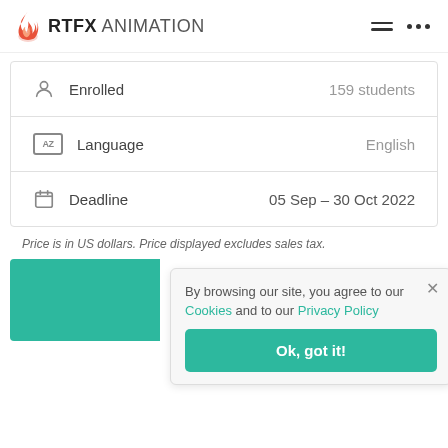[Figure (logo): RTFX Animation logo with flame icon on the left, hamburger menu and dots on the right]
| Enrolled | 159 students |
| Language | English |
| Deadline | 05 Sep – 30 Oct 2022 |
Price is in US dollars. Price displayed excludes sales tax.
By browsing our site, you agree to our Cookies and to our Privacy Policy
Ok, got it!